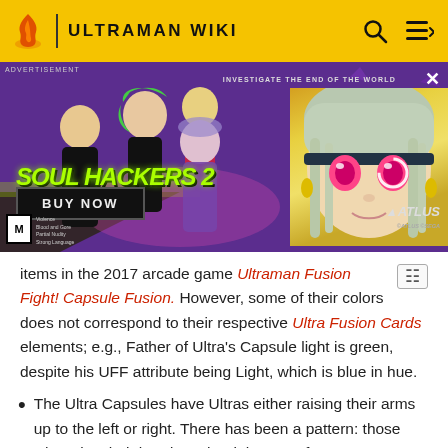ULTRAMAN WIKI
[Figure (screenshot): Advertisement banner for Soul Hackers 2 game by Atlus/Sega on a purple background, showing anime characters, Soul Hackers 2 logo, BUY NOW button, and a close-up anime face on the right. Text reads: ADVERTISEMENT, INVESTIGATE THE END OF THE WORLD, SOUL HACKERS 2, BUY NOW, ATLUS, ©ATLUS ©SEGA]
items in the 2017 arcade game Ultraman Fusion Fight! Capsule Fusion. However, some of their colors does not correspond to their respective Ultra Fusion Cards elements; e.g., Father of Ultra's Capsule light is green, despite his UFF attribute being Light, which is blue in hue.
The Ultra Capsules have Ultras either raising their arms up to the left or right. There has been a pattern: those who raise their hands to the right come from or